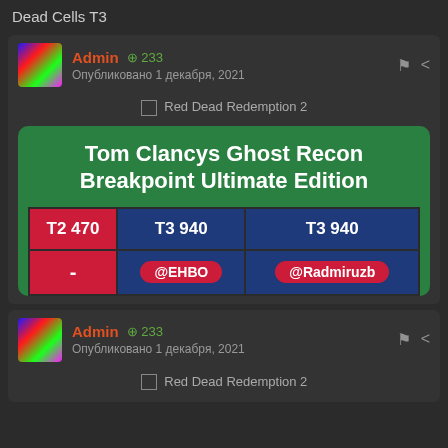Dead Cells T3
Admin ⊕ 233
Опубликовано 1 декабря, 2021
[Figure (screenshot): Broken image placeholder with text 'Red Dead Redemption 2']
[Figure (infographic): Tom Clancys Ghost Recon Breakpoint Ultimate Edition game card with price table: T2 470 (red), T3 940 (blue), T3 940 (blue); row 2: - (red), @ЕНВО (blue), @Radmiruzb (blue)]
Admin ⊕ 233
Опубликовано 1 декабря, 2021
[Figure (screenshot): Broken image placeholder with text 'Red Dead Redemption 2']